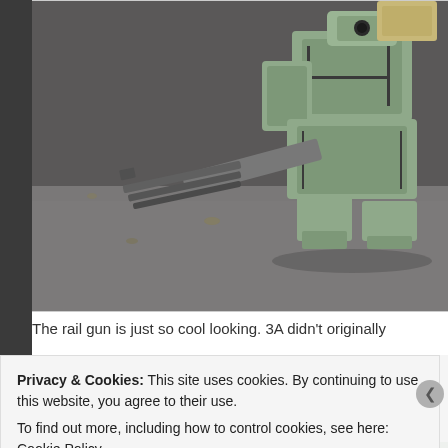[Figure (photo): A green mechanical robot/mech toy with a rail gun weapon, crouching on a gray ground surface. The mech has angular armor plating and multiple barrel weapons.]
The rail gun is just so cool looking. 3A didn't originally
Privacy & Cookies: This site uses cookies. By continuing to use this website, you agree to their use.
To find out more, including how to control cookies, see here: Cookie Policy
Close and accept